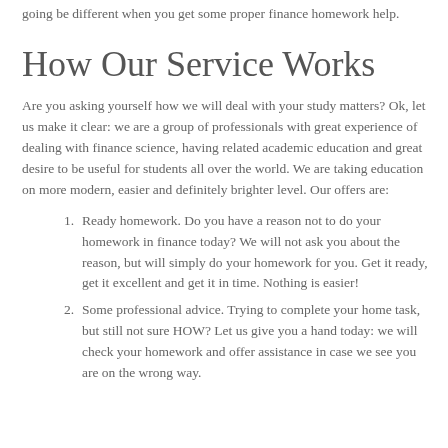confidence and natural enthusiasm. The fact is that things are going be different when you get some proper finance homework help.
How Our Service Works
Are you asking yourself how we will deal with your study matters? Ok, let us make it clear: we are a group of professionals with great experience of dealing with finance science, having related academic education and great desire to be useful for students all over the world. We are taking education on more modern, easier and definitely brighter level. Our offers are:
1. Ready homework. Do you have a reason not to do your homework in finance today? We will not ask you about the reason, but will simply do your homework for you. Get it ready, get it excellent and get it in time. Nothing is easier!
2. Some professional advice. Trying to complete your home task, but still not sure HOW? Let us give you a hand today: we will check your homework and offer assistance in case we see you are on the wrong way.